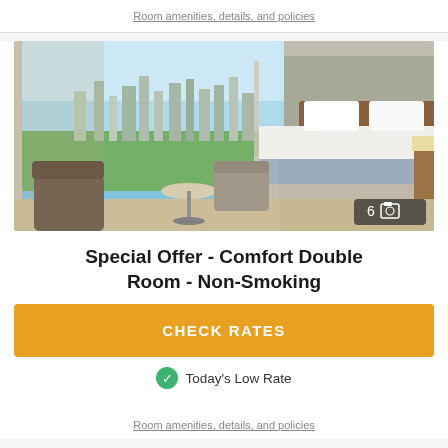Room amenities, details, and policies
[Figure (photo): Hotel room photo showing a comfortable double room with a large bed, city view window, seating area with a small round table and chair. A photo count badge showing '6' with a camera icon is in the bottom right corner.]
Special Offer - Comfort Double Room - Non-Smoking
CHECK RATES
Today's Low Rate
Room amenities, details, and policies